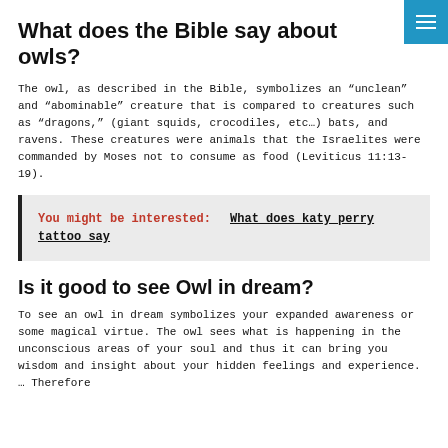What does the Bible say about owls?
The owl, as described in the Bible, symbolizes an “unclean” and “abominable” creature that is compared to creatures such as “dragons,” (giant squids, crocodiles, etc…) bats, and ravens. These creatures were animals that the Israelites were commanded by Moses not to consume as food (Leviticus 11:13-19).
You might be interested: What does katy perry tattoo say
Is it good to see Owl in dream?
To see an owl in dream symbolizes your expanded awareness or some magical virtue. The owl sees what is happening in the unconscious areas of your soul and thus it can bring you wisdom and insight about your hidden feelings and experience. … Therefore